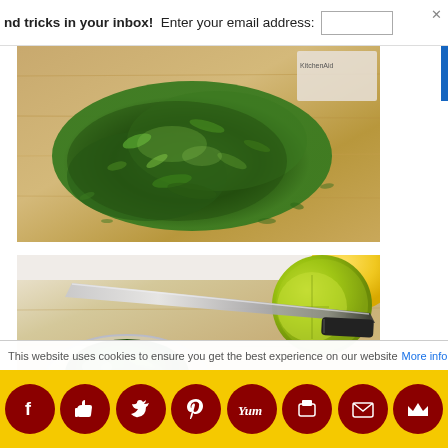nd tricks in your inbox!  Enter your email address:
[Figure (photo): Chopped fresh cilantro/parsley herbs piled on a wooden cutting board, viewed from above. A KitchenAid package is partially visible in the upper right corner.]
[Figure (photo): Overhead view of a wooden cutting board with a glass bowl filled with chopped herbs, a large chef's knife, a halved lime, and a small red container with herbs. A yellow lemon is partially visible.]
This website uses cookies to ensure you get the best experience on our website More info